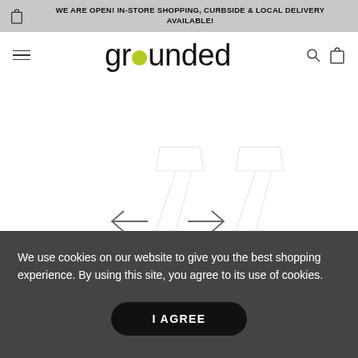WE ARE OPEN! IN-STORE SHOPPING, CURBSIDE & LOCAL DELIVERY AVAILABLE!
[Figure (logo): Grounded logo: lowercase sans-serif text 'grounded' with an olive/yellow-green circle replacing the letter 'o']
[Figure (other): Carousel navigation area with left and right arrow chevrons and a mostly blank white content area]
We use cookies on our website to give you the best shopping experience. By using this site, you agree to its use of cookies.
I AGREE